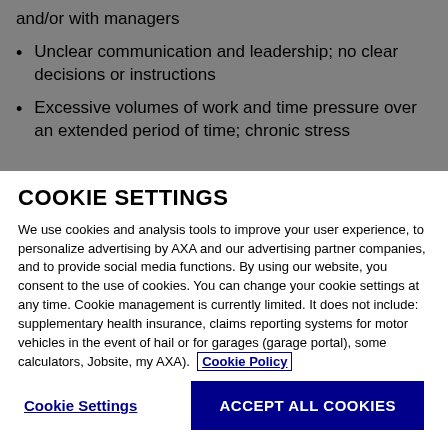and/or with managers
Unclear communication and leadership; no clear decisions or instructions
Excessive volumes of work and time pressure over an extended period of time; chronic stress
COOKIE SETTINGS
We use cookies and analysis tools to improve your user experience, to personalize advertising by AXA and our advertising partner companies, and to provide social media functions. By using our website, you consent to the use of cookies. You can change your cookie settings at any time. Cookie management is currently limited. It does not include: supplementary health insurance, claims reporting systems for motor vehicles in the event of hail or for garages (garage portal), some calculators, Jobsite, my AXA). Cookie Policy
Cookie Settings | ACCEPT ALL COOKIES